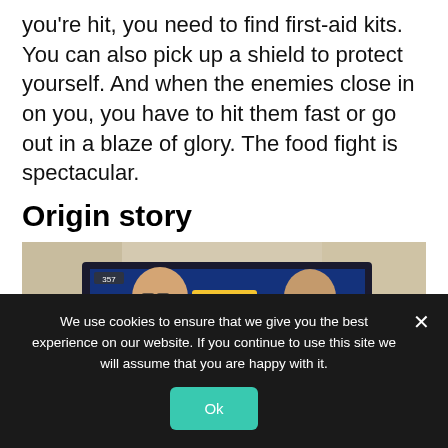you're hit, you need to find first-aid kits. You can also pick up a shield to protect yourself. And when the enemies close in on you, you have to hit them fast or go out in a blaze of glory. The food fight is spectacular.
Origin story
[Figure (photo): Two men in dark t-shirts standing in front of a TV screen displaying 'BUTTER ROYAL' game title]
We use cookies to ensure that we give you the best experience on our website. If you continue to use this site we will assume that you are happy with it.